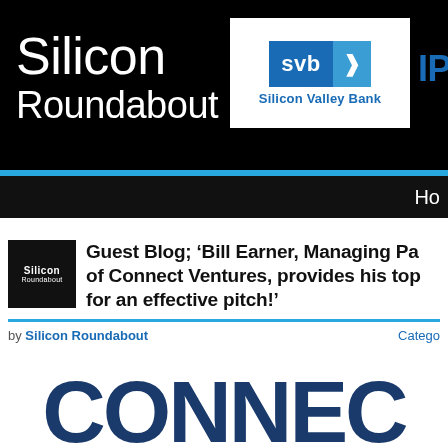Silicon Roundabout
[Figure (logo): SVB Silicon Valley Bank logo with blue square and arrow icon]
IPOs
Ho
Guest Blog; ‘Bill Earner, Managing Pa of Connect Ventures, provides his top for an effective pitch!'
by Silicon Roundabout
Catego
[Figure (logo): Connect large dark navy text logo at bottom of page]